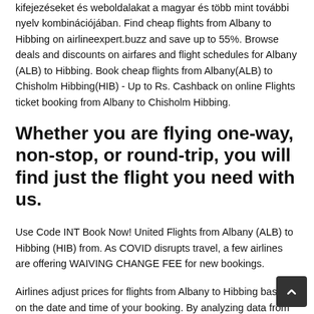kifejezéseket és weboldalakat a magyar és több mint további nyelv kombinációjában. Find cheap flights from Albany to Hibbing on airlineexpert.buzz and save up to 55%. Browse deals and discounts on airfares and flight schedules for Albany (ALB) to Hibbing. Book cheap flights from Albany(ALB) to Chisholm Hibbing(HIB) - Up to Rs. Cashback on online Flights ticket booking from Albany to Chisholm Hibbing.
Whether you are flying one-way, non-stop, or round-trip, you will find just the flight you need with us.
Use Code INT Book Now! United Flights from Albany (ALB) to Hibbing (HIB) from. As COVID disrupts travel, a few airlines are offering WAIVING CHANGE FEE for new bookings.
Airlines adjust prices for flights from Albany to Hibbing based on the date and time of your booking. By analyzing data from all airlines, on airlineexpert.buzz, you can find the lowest flight p… on Tuesdays, Wednesdays, and Saturdays. Find the best de…